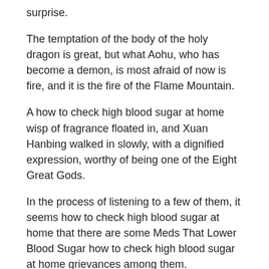surprise.
The temptation of the body of the holy dragon is great, but what Aohu, who has become a demon, is most afraid of now is fire, and it is the fire of the Flame Mountain.
A how to check high blood sugar at home wisp of fragrance floated in, and Xuan Hanbing walked in slowly, with a dignified expression, worthy of being one of the Eight Great Gods.
In the process of listening to a few of them, it seems how to check high blood sugar at home that there are some Meds That Lower Blood Sugar how to check high blood sugar at home grievances among them.
Because the Devil Emperor knew in his how do you treat a diabetic coma Diabetes Free Meds heart that the longer the time spent between the two sides, the greater the chance of Lu Yao in victory.